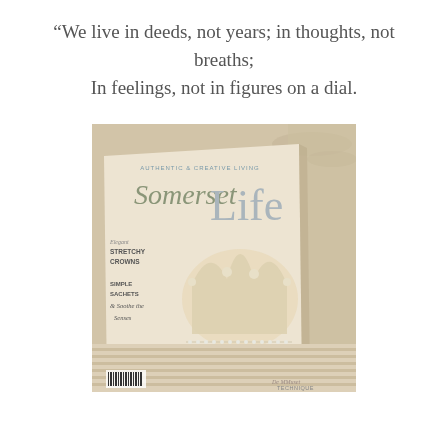"We live in deeds, not years; in thoughts, not breaths;
In feelings, not in figures on a dial.
[Figure (photo): A photograph showing a Somerset Life magazine cover featuring an ornate crown decorated with pearls and gold embellishments, placed on striped fabric. The magazine cover reads 'AUTHENTIC & CREATIVE LIVING Somerset Life' with article teasers including 'Elegant STRETCHY CROWNS', 'SIMPLE SACHETS & Soothe the Senses', and 'UNIQUE PACKAGING IDEAS FOR the Holidays'. A barcode is visible at the bottom left.]